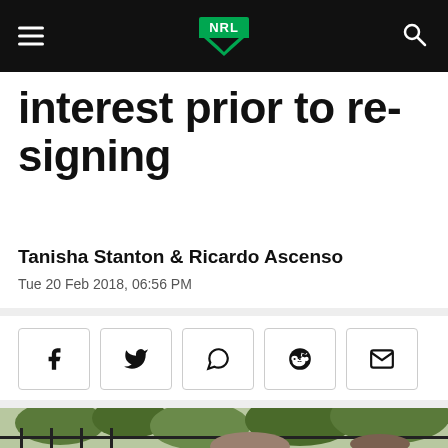NRL
interest prior to re-signing
Tanisha Stanton & Ricardo Ascenso
Tue 20 Feb 2018, 06:56 PM
[Figure (other): Social share buttons: Facebook, Twitter, WhatsApp, Reddit, Email]
[Figure (photo): Photo of two people outdoors near a fence and trees]